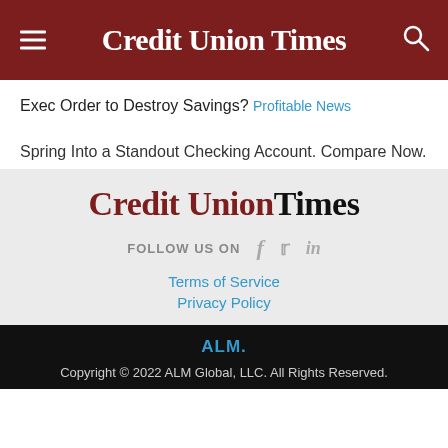Credit Union Times
Exec Order to Destroy Savings?
Profitable News
Spring Into a Standout Checking Account. Compare Now.
[Figure (logo): Credit Union Times logo in footer area, dark red and black text]
FOLLOW US ON
Terms of Service
Privacy Policy
[Figure (logo): ALM logo in blue]
Copyright © 2022 ALM Global, LLC. All Rights Reserved.